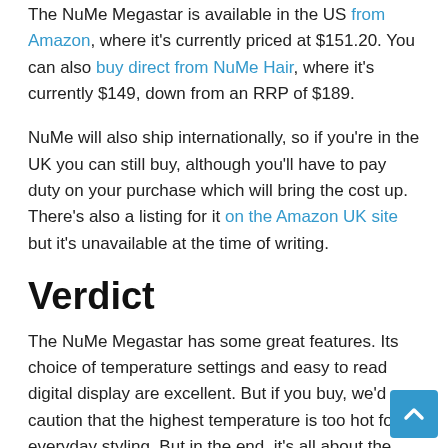The NuMe Megastar is available in the US from Amazon, where it's currently priced at $151.20. You can also buy direct from NuMe Hair, where it's currently $149, down from an RRP of $189.
NuMe will also ship internationally, so if you're in the UK you can still buy, although you'll have to pay duty on your purchase which will bring the cost up. There's also a listing for it on the Amazon UK site but it's unavailable at the time of writing.
Verdict
The NuMe Megastar has some great features. Its choice of temperature settings and easy to read digital display are excellent. But if you buy, we'd caution that the highest temperature is too hot for everyday styling. But in the end, it's all about the results and the Megastar delivers straight, shiny hair, very quickly.